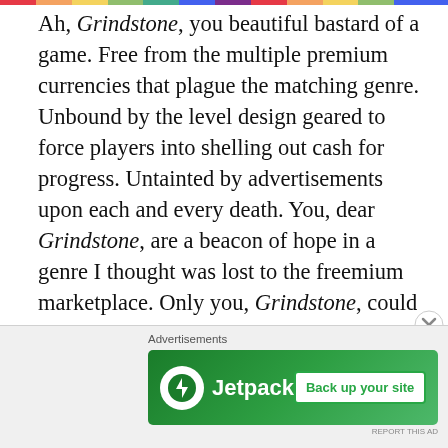[Figure (other): Rainbow/multicolor horizontal bar at the very top of the page]
Ah, Grindstone, you beautiful bastard of a game. Free from the multiple premium currencies that plague the matching genre. Unbound by the level design geared to force players into shelling out cash for progress. Untainted by advertisements upon each and every death. You, dear Grindstone, are a beacon of hope in a genre I thought was lost to the freemium marketplace. Only you, Grindstone, could provide me with refuge from the droll of day to day activities like bussing and going to the bathroom.

Grindstone... you gorgeous, disgusting game about strategic monster slashing and satisfying skull
[Figure (other): Jetpack advertisement banner with logo and 'Back up your site' button]